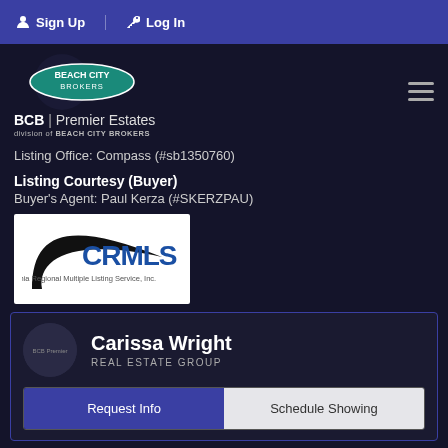Sign Up   Log In
[Figure (logo): Beach City Brokers logo with teal oval and circle, BCB | Premier Estates, division of BEACH CITY BROKERS]
Listing Office: Compass (#sb1350760)
Listing Courtesy (Buyer)
Buyer's Agent: Paul Kerza (#SKERZPAU)
[Figure (logo): CRMLS California Regional Multiple Listing Service, Inc. logo]
Carissa Wright
REAL ESTATE GROUP
Request Info   Schedule Showing